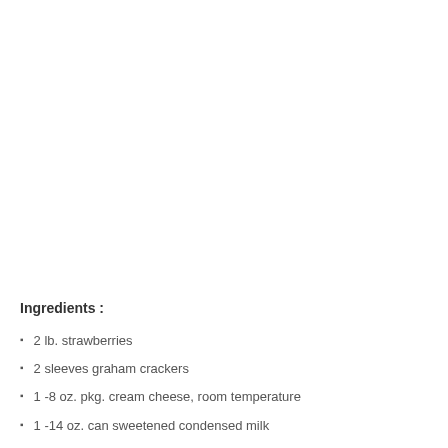Ingredients :
2 lb. strawberries
2 sleeves graham crackers
1 -8 oz. pkg. cream cheese, room temperature
1 -14 oz. can sweetened condensed milk
2- 3.4 oz. pkg. instant cheesecake flavored pudding